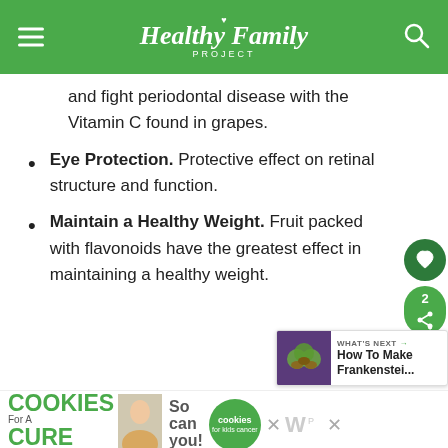Healthy Family PROJECT
and fight periodontal disease with the Vitamin C found in grapes.
Eye Protection. Protective effect on retinal structure and function.
Maintain a Healthy Weight. Fruit packed with flavonoids have the greatest effect in maintaining a healthy weight.
[Figure (screenshot): What's Next widget showing 'How To Make Frankenstei...' with a thumbnail image]
I Bake COOKIES For A CURE | Haldora, 11 Cancer Survivor | So can you! | cookies for kids cancer